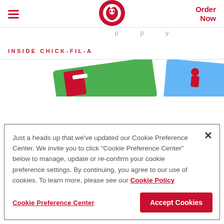≡  [Chick-fil-A logo]  Order Now
...p...p...y...
INSIDE CHICK-FIL-A
[Figure (photo): Partial view of colorful illustrated cards or packaging items, green and blue colored, partially cropped at page edge]
Just a heads up that we've updated our Cookie Preference Center. We invite you to click "Cookie Preference Center" below to manage, update or re-confirm your cookie preference settings. By continuing, you agree to our use of cookies. To learn more, please see our Cookie Policy
Cookie Preference Center   Accept Cookies